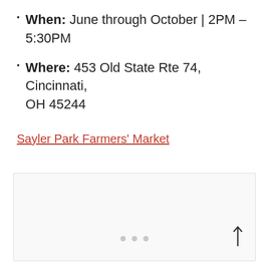When: June through October | 2PM – 5:30PM
Where: 453 Old State Rte 74, Cincinnati, OH 45244
Sayler Park Farmers' Market
[Figure (photo): Empty light gray image placeholder box with three pagination dots and an upward arrow at the bottom right]